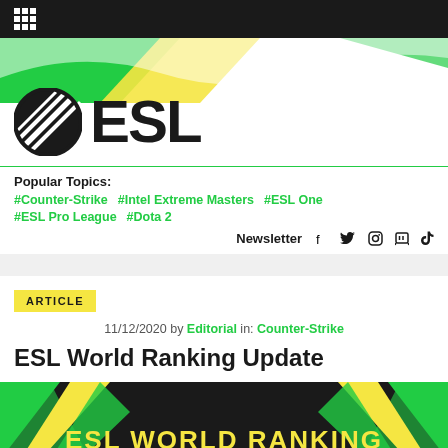ESL (logo with navigation bar)
[Figure (logo): ESL logo - circular badge with diagonal lines and ESL text]
Popular Topics: #Counter-Strike #Intel Extreme Masters #ESL One #ESL Pro League #Dota 2
Newsletter
ARTICLE
11/12/2020 by Editorial in: Counter-Strike
ESL World Ranking Update
[Figure (screenshot): ESL WORLD RANKING banner with green and yellow geometric shapes on dark background]